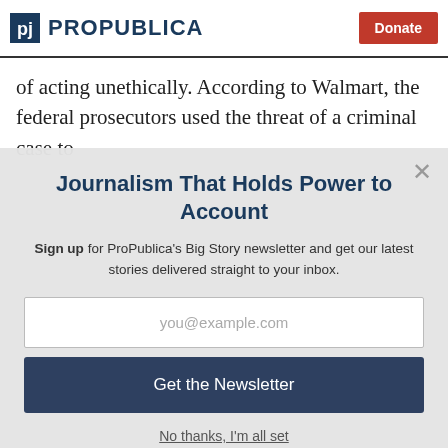ProPublica | Donate
of acting unethically. According to Walmart, the federal prosecutors used the threat of a criminal case to
Journalism That Holds Power to Account
Sign up for ProPublica's Big Story newsletter and get our latest stories delivered straight to your inbox.
you@example.com
Get the Newsletter
No thanks, I'm all set
This site is protected by reCAPTCHA and the Google Privacy Policy and Terms of Service apply.